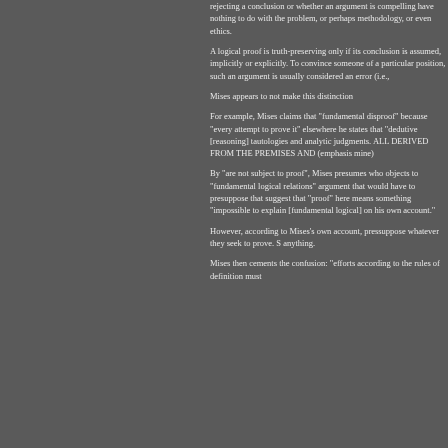rejecting a conclusion or whether an argument is compelling have nothing to do with the problem, or perhaps methodology, or even ethics.
A logical proof is truth-preserving only if its conclusion is assumed, implicitly or explicitly. To convince someone of a particular position, such an argument is usually considered an error (i.e.,
Mises appears to not make this distinction
For example, Mises claims that "fundamental disproof" because "every attempt to prove it" elsewhere he states that "dedutive [reasoning] tautologies and analytic judgments. ALL DERIVED FROM THE PREMISES AND (emphasis mine)
By "are not subject to proof", Mises presumes who objects to "fundamental logical relations" argument that would have to presuppose that suggest that "proof" here means something "impossible to explain [fundamental logical] on his own account."
However, according to Mises's own account, pressuppose whatever they seek to prove. anything.
Mises then cements the confusion: "efforts according to the rules of definition must